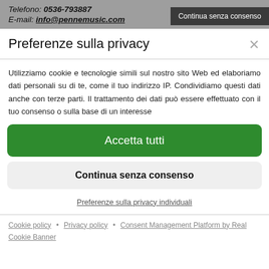Telefono: 0536-793887
E-mail: info@pennemusic.com
Continua senza consenso
Preferenze sulla privacy
Utilizziamo cookie e tecnologie simili sul nostro sito Web ed elaboriamo dati personali su di te, come il tuo indirizzo IP. Condividiamo questi dati anche con terze parti. Il trattamento dei dati può essere effettuato con il tuo consenso o sulla base di un interesse
Accetta tutti
Continua senza consenso
Preferenze sulla privacy individuali
Cookie policy • Privacy policy • Consent Management Platform by Real Cookie Banner